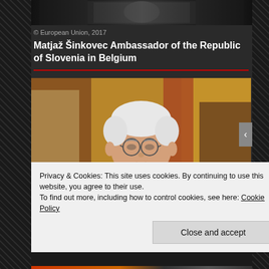[Figure (photo): Top strip showing a partial black and white or dark-toned image, likely from a video or broadcast.]
© European Union, 2017
Matjaž Šinkovec Ambassador of the Republic of Slovenia in Belgium
[Figure (photo): Portrait photo of an elderly white-haired man wearing glasses and a dark suit, speaking, with a warm-colored background.]
Privacy & Cookies: This site uses cookies. By continuing to use this website, you agree to their use.
To find out more, including how to control cookies, see here: Cookie Policy
Close and accept